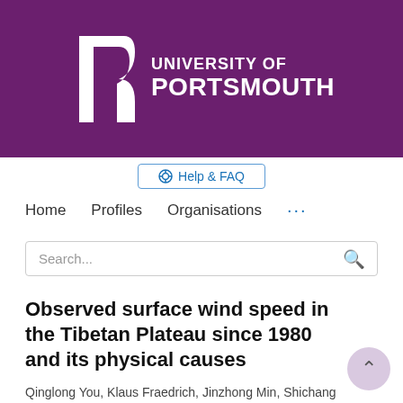[Figure (logo): University of Portsmouth logo: white stylised P lettermark and shield on purple background with text UNIVERSITY OF PORTSMOUTH in white]
⊕ Help & FAQ
Home   Profiles   Organisations   ...
Search...
Observed surface wind speed in the Tibetan Plateau since 1980 and its physical causes
Qinglong You, Klaus Fraedrich, Jinzhong Min, Shichang